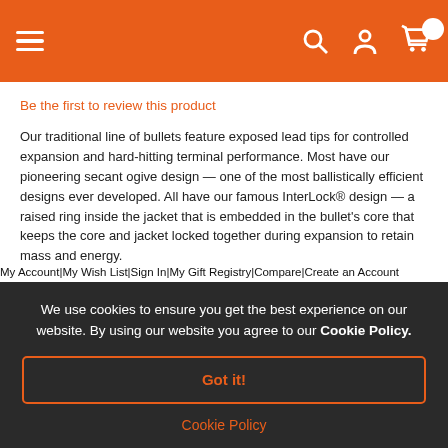Navigation bar with hamburger menu, search, account, and cart icons
Be the first to review this product
Our traditional line of bullets feature exposed lead tips for controlled expansion and hard-hitting terminal performance. Most have our pioneering secant ogive design — one of the most ballistically efficient designs ever developed. All have our famous InterLock® design — a raised ring inside the jacket that is embedded in the bullet's core that keeps the core and jacket locked together during expansion to retain mass and energy.
My Account|My Wish List|Sign In|My Gift Registry|Compare|Create an Account
R969
Qua
We use cookies to ensure you get the best experience on our website. By using our website you agree to our Cookie Policy.
Got it!
Cookie Policy